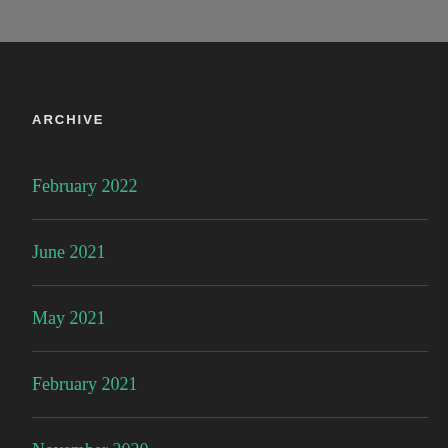ARCHIVE
February 2022
June 2021
May 2021
February 2021
November 2020
September 2020